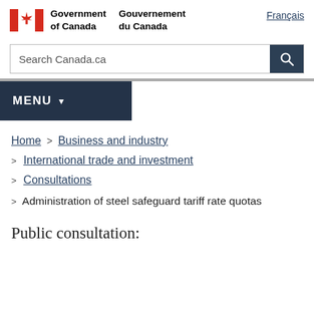Government of Canada / Gouvernement du Canada | Français
Search Canada.ca
MENU
Home > Business and industry > International trade and investment > Consultations > Administration of steel safeguard tariff rate quotas
Public consultation: